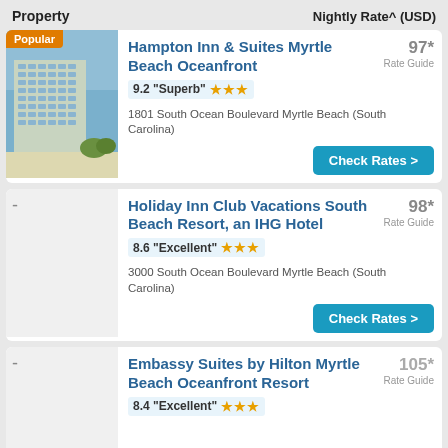Property | Nightly Rate^ (USD)
[Figure (photo): Hotel building photo with 'Popular' badge overlay - Hampton Inn & Suites Myrtle Beach Oceanfront]
Hampton Inn & Suites Myrtle Beach Oceanfront
9.2 "Superb" ★★★
1801 South Ocean Boulevard Myrtle Beach (South Carolina)
97* Rate Guide
Check Rates >
Holiday Inn Club Vacations South Beach Resort, an IHG Hotel
8.6 "Excellent" ★★★
3000 South Ocean Boulevard Myrtle Beach (South Carolina)
98* Rate Guide
Check Rates >
Embassy Suites by Hilton Myrtle Beach Oceanfront Resort
8.4 "Excellent" ★★★
105* Rate Guide